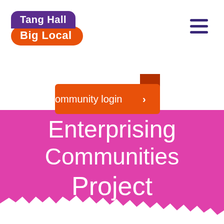[Figure (logo): Tang Hall Big Local logo: purple rounded rectangle with 'Tang Hall' in white, orange pill shape with 'Big Local' in white bold]
[Figure (other): Hamburger menu icon: three horizontal purple bars]
[Figure (other): Orange folded tab shape with 'Community login >' text in white handwritten font, overlapping the magenta banner]
Enterprising Communities Project